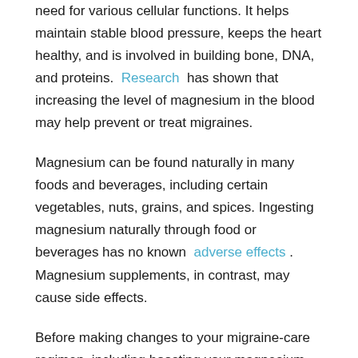need for various cellular functions. It helps maintain stable blood pressure, keeps the heart healthy, and is involved in building bone, DNA, and proteins. Research has shown that increasing the level of magnesium in the blood may help prevent or treat migraines.
Magnesium can be found naturally in many foods and beverages, including certain vegetables, nuts, grains, and spices. Ingesting magnesium naturally through food or beverages has no known adverse effects . Magnesium supplements, in contrast, may cause side effects.
Before making changes to your migraine-care regimen, including boosting your magnesium intake, be sure to talk with your doctor or health care provider.
Read Also: Migraine Goes Away After Vomiting